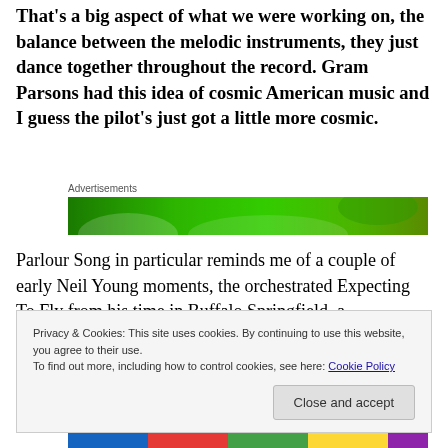That's a big aspect of what we were working on, the balance between the melodic instruments, they just dance together throughout the record. Gram Parsons had this idea of cosmic American music and I guess the pilot's just got a little more cosmic.
Advertisements
[Figure (other): Green advertisement banner]
Parlour Song in particular reminds me of a couple of early Neil Young moments, the orchestrated Expecting To Fly from his time in Buffalo Springfield, a orchestration and
Privacy & Cookies: This site uses cookies. By continuing to use this website, you agree to their use.
To find out more, including how to control cookies, see here: Cookie Policy
Close and accept
[Figure (other): Colorful advertisement banner at bottom]